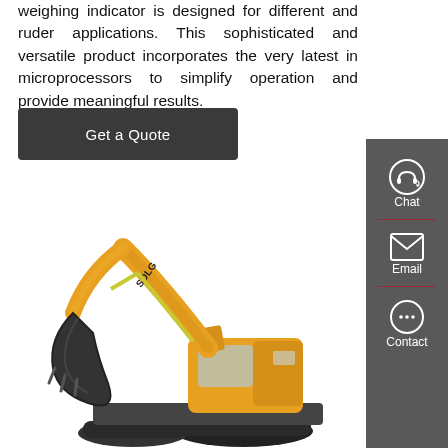weighing indicator is designed for different and ruder applications. This sophisticated and versatile product incorporates the very latest in microprocessors to simplify operation and provide meaningful results.
Get a Quote
[Figure (photo): Orange SDLG excavator with large bucket arm on white background]
Chat
Email
Contact